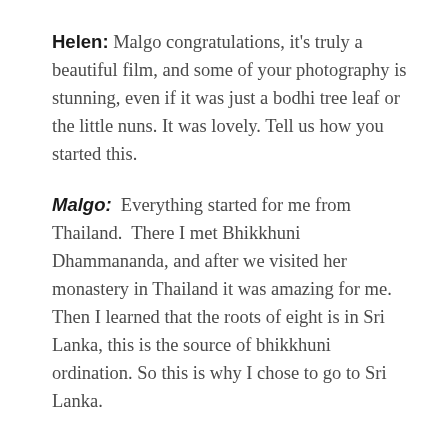Helen: Malgo congratulations, it's truly a beautiful film, and some of your photography is stunning, even if it was just a bodhi tree leaf or the little nuns. It was lovely. Tell us how you started this.
Malgo: Everything started for me from Thailand. There I met Bhikkhuni Dhammananda, and after we visited her monastery in Thailand it was amazing for me. Then I learned that the roots of eight is in Sri Lanka, this is the source of bhikkhuni ordination. So this is why I chose to go to Sri Lanka.